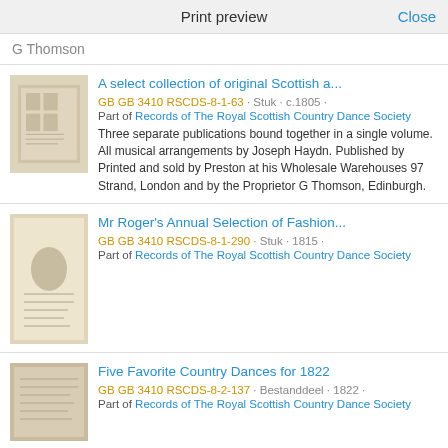Print preview   Close
G Thomson
A select collection of original Scottish a...
GB GB 3410 RSCDS-8-1-63 · Stuk · c.1805 ·
Part of Records of The Royal Scottish Country Dance Society
Three separate publications bound together in a single volume. All musical arrangements by Joseph Haydn. Published by Printed and sold by Preston at his Wholesale Warehouses 97 Strand, London and by the Proprietor G Thomson, Edinburgh.
Mr Roger's Annual Selection of Fashion...
GB GB 3410 RSCDS-8-1-290 · Stuk · 1815 ·
Part of Records of The Royal Scottish Country Dance Society
Five Favorite Country Dances for 1822
GB GB 3410 RSCDS-8-2-137 · Bestanddeel · 1822 ·
Part of Records of The Royal Scottish Country Dance Society